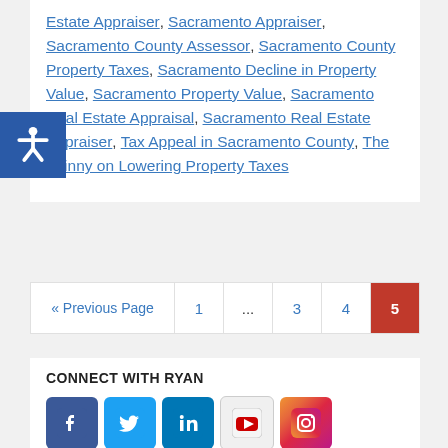Estate Appraiser, Sacramento Appraiser, Sacramento County Assessor, Sacramento County Property Taxes, Sacramento Decline in Property Value, Sacramento Property Value, Sacramento Real Estate Appraisal, Sacramento Real Estate Appraiser, Tax Appeal in Sacramento County, The Skinny on Lowering Property Taxes
« Previous Page  1  ...  3  4  5
CONNECT WITH RYAN
[Figure (infographic): Social media icons: Facebook, Twitter, LinkedIn, YouTube, Instagram]